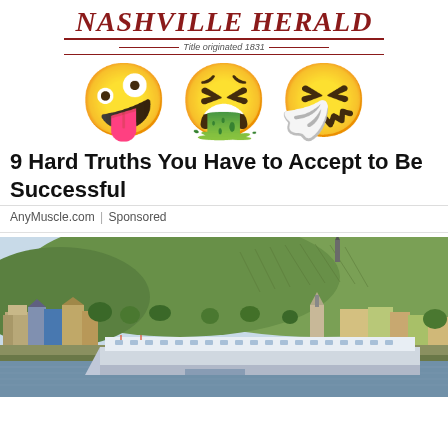Nashville Herald — Title originated 1831
[Figure (illustration): Three emoji faces: a dizzy/woozy face with tongue out, a nauseated/vomiting face with green drool, and a sneezing face with tissue]
9 Hard Truths You Have to Accept to Be Successful
AnyMuscle.com | Sponsored
[Figure (photo): A river cruise ship docked in front of a European riverside town with colorful buildings, a church steeple, and green vineyard-covered hills in the background]